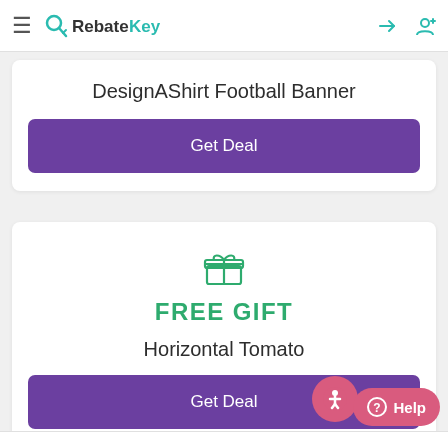RebateKey
DesignAShirt Football Banner
Get Deal
[Figure (illustration): Green gift box icon]
FREE GIFT
Horizontal Tomato
Get Deal